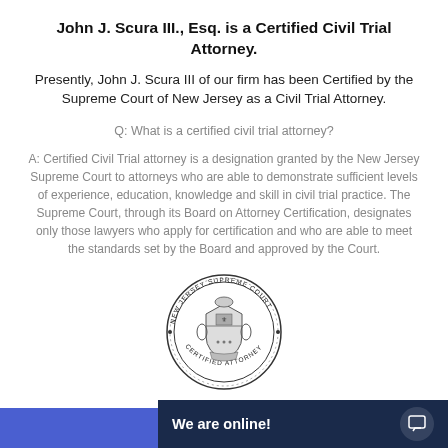John J. Scura III., Esq. is a Certified Civil Trial Attorney.
Presently, John J. Scura III of our firm has been Certified by the Supreme Court of New Jersey as a Civil Trial Attorney.
Q: What is a certified civil trial attorney?
A: Certified Civil Trial attorney is a designation granted by the New Jersey Supreme Court to attorneys who are able to demonstrate sufficient levels of experience, education, knowledge and skill in civil trial practice. The Supreme Court, through its Board on Attorney Certification, designates only those lawyers who apply for certification and who are able to meet the standards set by the Board and approved by the Court.
[Figure (illustration): New Jersey Supreme Court Certified Attorney seal — circular black and white official seal with text 'NEW JERSEY SUPREME COURT' around the top, 'CERTIFIED ATTORNEY' around the bottom, and a state emblem in the center.]
We are online!